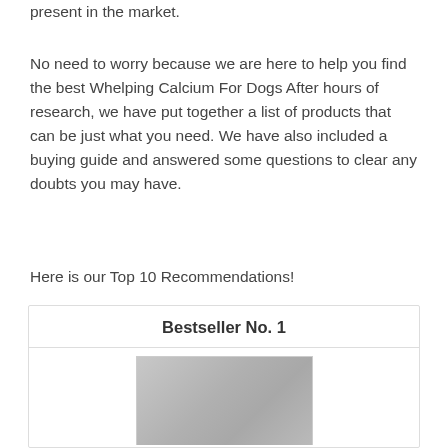present in the market.
No need to worry because we are here to help you find the best Whelping Calcium For Dogs After hours of research, we have put together a list of products that can be just what you need. We have also included a buying guide and answered some questions to clear any doubts you may have.
Here is our Top 10 Recommendations!
Bestseller No. 1
[Figure (photo): Product image for Bestseller No. 1 - appears to be a calcium supplement product with a label at the bottom]